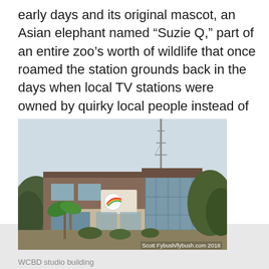early days and its original mascot, an Asian elephant named “Suzie Q,” part of an entire zoo’s worth of wildlife that once roamed the station grounds back in the days when local TV stations were owned by quirky local people instead of hedge funds.
[Figure (photo): Exterior photograph of WCBD studio building, a two-story brick building with large glass windows, a TV broadcast tower visible behind it, and trees on either side. Photo credit: Scott Fybush/fybush.com 2018.]
WCBD studio building